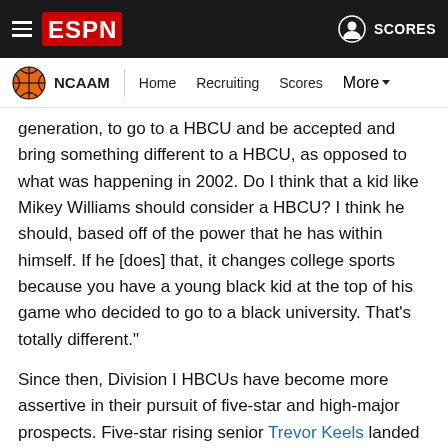ESPN — NCAAM | Home | Recruiting | Scores | More
generation, to go to a HBCU and be accepted and bring something different to a HBCU, as opposed to what was happening in 2002. Do I think that a kid like Mikey Williams should consider a HBCU? I think he should, based off of the power that he has within himself. If he [does] that, it changes college sports because you have a young black kid at the top of his game who decided to go to a black university. That's totally different."
Since then, Division I HBCUs have become more assertive in their pursuit of five-star and high-major prospects. Five-star rising senior Trevor Keels landed three HBCU offers; five-star rising junior Brandon Huntley-Hatfield picked up at least four HBCU offers; top-tier junior college prospect El Ellis included North Carolina Central on his final list before choosing